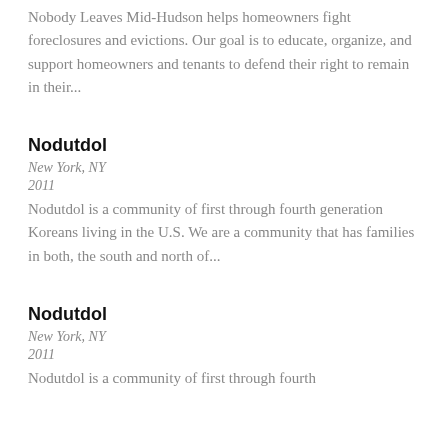Nobody Leaves Mid-Hudson helps homeowners fight foreclosures and evictions. Our goal is to educate, organize, and support homeowners and tenants to defend their right to remain in their...
Nodutdol
New York, NY
2011
Nodutdol is a community of first through fourth generation Koreans living in the U.S. We are a community that has families in both, the south and north of...
Nodutdol
New York, NY
2011
Nodutdol is a community of first through fourth